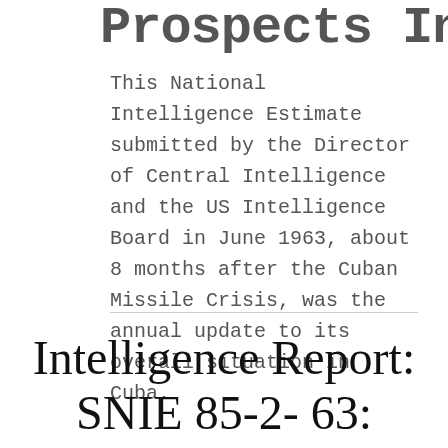Prospects In Cuba
This National Intelligence Estimate submitted by the Director of Central Intelligence and the US Intelligence Board in June 1963, about 8 months after the Cuban Missile Crisis, was the annual update to its overall situation in Cuba.
Intelligence Report: SNIE 85-2-63: Reactions to US Im...